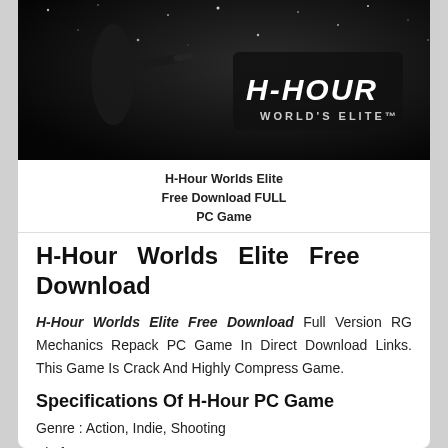[Figure (photo): Dark atmospheric hero image of a soldier/operative in snow with the H-Hour World's Elite game logo in white text on black background]
H-Hour Worlds Elite Free Download FULL PC Game
H-Hour Worlds Elite Free Download
H-Hour Worlds Elite Free Download Full Version RG Mechanics Repack PC Game In Direct Download Links. This Game Is Crack And Highly Compress Game.
Specifications Of H-Hour PC Game
Genre : Action, Indie, Shooting
Platform : PC